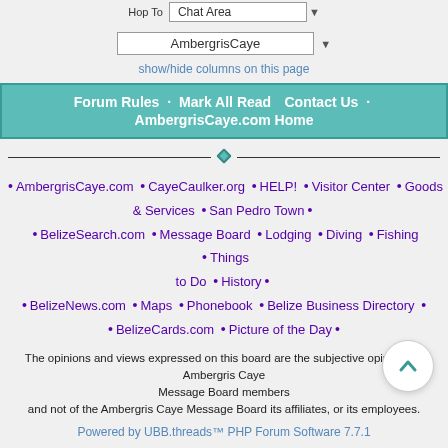Hop To  Chat Area
AmbergrisCaye
show/hide columns on this page
Forum Rules · Mark All Read    Contact Us · AmbergrisCaye.com Home
AmbergrisCaye.com • CayeCaulker.org • HELP! • Visitor Center • Goods & Services • San Pedro Town •
• BelizeSearch.com • Message Board • Lodging • Diving • Fishing • Things to Do • History •
• BelizeNews.com • Maps • Phonebook • Belize Business Directory • • BelizeCards.com • Picture of the Day •
The opinions and views expressed on this board are the subjective opinions of Ambergris Caye Message Board members and not of the Ambergris Caye Message Board its affiliates, or its employees.
Powered by UBB.threads™ PHP Forum Software 7.7.1